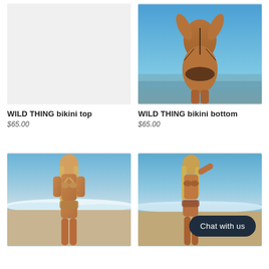[Figure (photo): Empty light gray product placeholder image for WILD THING bikini top]
[Figure (photo): Model photographed from behind wearing WILD THING bikini bottom, standing near a body of water under blue sky]
WILD THING bikini top
$65.00
WILD THING bikini bottom
$65.00
[Figure (photo): Blonde model wearing WILD THING bikini top standing on beach with waves in background]
[Figure (photo): Blonde model posing on beach, with a dark navy 'Chat with us' button overlay in the lower right]
Chat with us